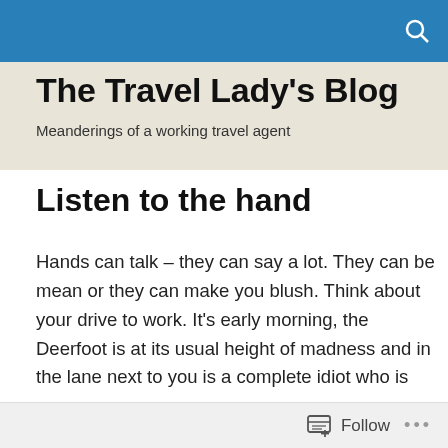The Travel Lady's Blog
The Travel Lady's Blog
Meanderings of a working travel agent
Listen to the hand
Hands can talk – they can say a lot. They can be mean or they can make you blush. Think about your drive to work. It's early morning, the Deerfoot is at its usual height of madness and in the lane next to you is a complete idiot who is trying to get into your lane. What the hell is he thinking of? Eventually you pull back a little to let him in just to get him out of the way and what does he do?
Follow